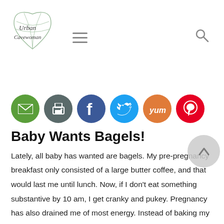Urban Cavewoman
[Figure (logo): Urban Cavewoman logo with heart shape and leaf design]
Baby Wants Bagels!
Lately, all baby has wanted are bagels. My pre-pregnancy breakfast only consisted of a large butter coffee, and that would last me until lunch. Now, if I don't eat something substantive by 10 am, I get cranky and pukey. Pregnancy has also drained me of most energy. Instead of baking my own paleo bagels, I opted for the frozen gluten free variety. I am very pleased that since hitting week 20, my energy has mostly returned. I'm finally feeling